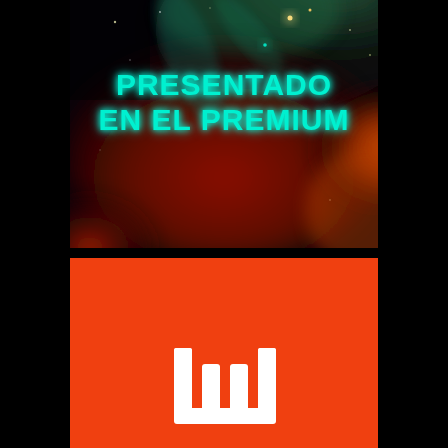[Figure (illustration): Space nebula background image with deep reds, oranges, and teal/green hues with stars, occupying the top portion of the page]
PRESENTADO EN EL PREMIUM
[Figure (logo): Orange/red background with a white stylized crown/fork logo mark (Twitch-style or similar streaming platform logo) at the bottom]